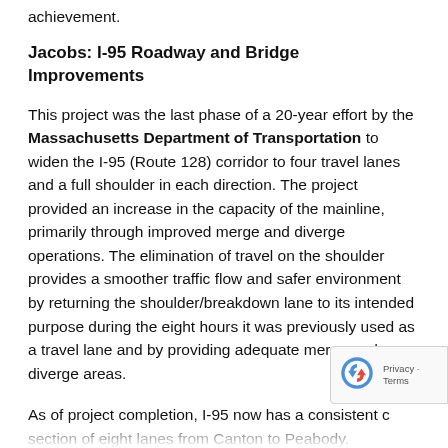achievement.
Jacobs: I-95 Roadway and Bridge Improvements
This project was the last phase of a 20-year effort by the Massachusetts Department of Transportation to widen the I-95 (Route 128) corridor to four travel lanes and a full shoulder in each direction. The project provided an increase in the capacity of the mainline, primarily through improved merge and diverge operations. The elimination of travel on the shoulder provides a smoother traffic flow and safer environment by returning the shoulder/breakdown lane to its intended purpose during the eight hours it was previously used as a travel lane and by providing adequate merge and diverge areas.
As of project completion, I-95 now has a consistent cross section of eight lanes from Canton to Peabody. Additional roadway improvements included widened shoulders at the